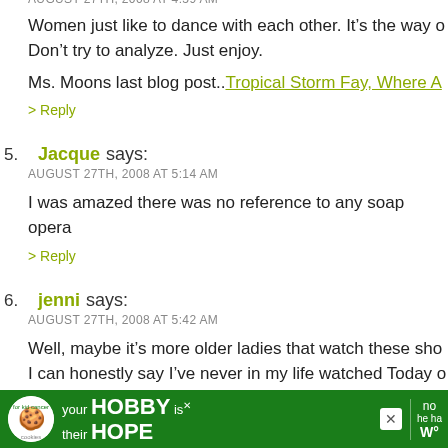AUGUST 27TH, 2008 AT 4:59 AM
Women just like to dance with each other. It’s the way o Don’t try to analyze. Just enjoy.
Ms. Moons last blog post..Tropical Storm Fay, Where A
> Reply
5. Jacque says:
AUGUST 27TH, 2008 AT 5:14 AM
I was amazed there was no reference to any soap opera
> Reply
6. jenni says:
AUGUST 27TH, 2008 AT 5:42 AM
Well, maybe it’s more older ladies that watch these sho I can honestly say I’ve never in my life watched Today o Ellen maybe a half a dozen times. I like that she wears s Kathie Lee makes me want to kill myself. But I do love M
[Figure (other): Advertisement banner: cookies for kid cancer, your HOBBY is their HOPE]